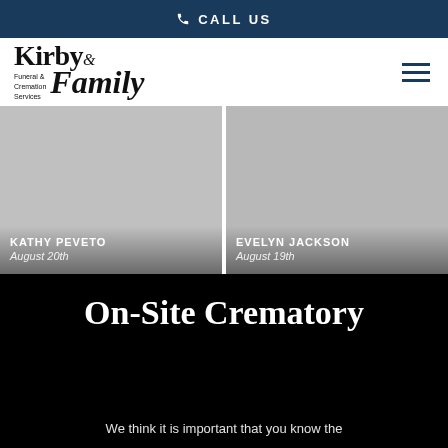CALL US
[Figure (logo): Kirby & Family Funeral & Cremation Services logo]
[Figure (photo): Gray placeholder image for Kathy Peveto obituary card]
KATHY PEVETO
August 20th
[Figure (photo): Gray placeholder image for Evelyn Jackson obituary card]
EVELYN JACKSON
August 19th
On-Site Crematory
We think it is important that you know the